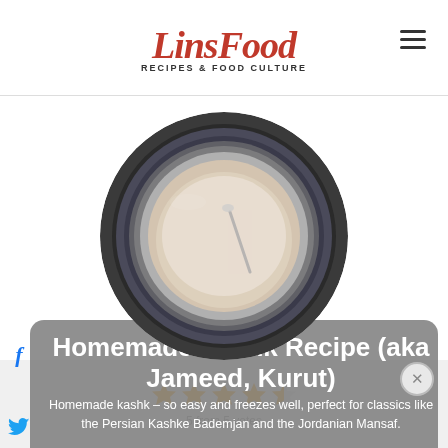LinsFood Recipes & Food Culture
[Figure (photo): Top-down view of a bowl containing a creamy pale liquid with a spoon, set on a dark stone surface, viewed in a circular crop]
Homemade Kashk Recipe (aka Jameed, Kurut)
Homemade kashk – so easy and freezes well, perfect for classics like the Persian Kashke Bademjan and the Jordanian Mansaf.
[Figure (other): Star rating display showing 4.5 stars out of 5]
5 from 5 votes